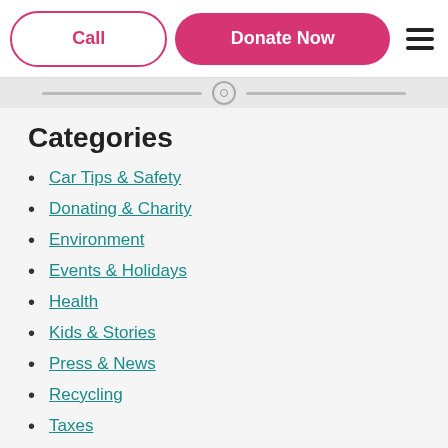Call | Donate Now
Categories
Car Tips & Safety
Donating & Charity
Environment
Events & Holidays
Health
Kids & Stories
Press & News
Recycling
Taxes